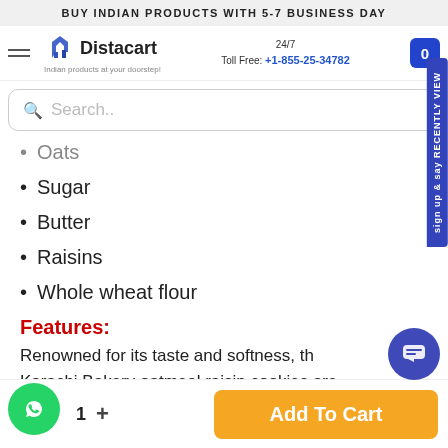BUY INDIAN PRODUCTS WITH 5-7 BUSINESS DAY
[Figure (logo): Distacart logo with tagline 'Indian products at your doorstep!']
24/7 Toll Free: +1-855-25-34782
Search..
Oats
Sugar
Butter
Raisins
Whole wheat flour
Features:
Renowned for its taste and softness, the Karachi Bakery oatmeal raisin cookies are